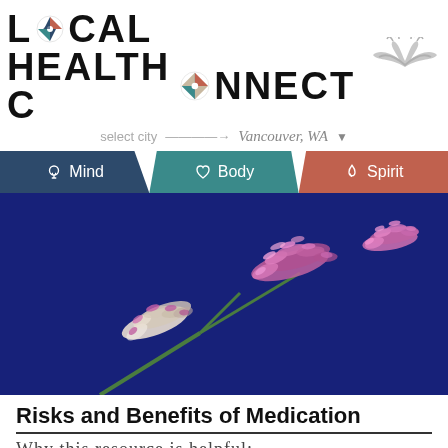[Figure (logo): Local Health Connect logo with compass icons and hand graphic, showing 'select city → Vancouver, WA' selector below]
[Figure (other): Navigation bar with three sections: Mind (dark blue with lightbulb icon), Body (teal with heart icon), Spirit (terracotta with flame icon)]
[Figure (photo): Close-up photograph of pink/purple fluffy grass seed heads against a dark navy blue background]
Risks and Benefits of Medication
Why this resource is helpful:
Quoted From: https://cynthiabye.com/risks-and-